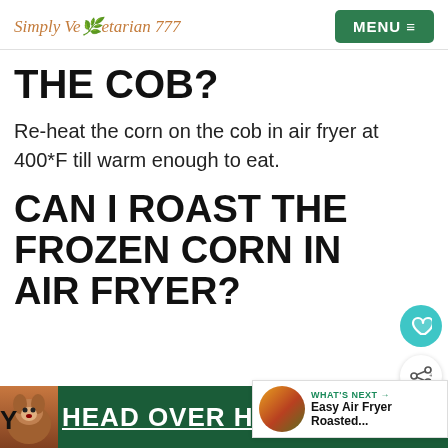Simply Vegetarian 777   MENU
THE COB?
Re-heat the corn on the cob in air fryer at 400*F till warm enough to eat.
CAN I ROAST THE FROZEN CORN IN AIR FRYER?
[Figure (other): What's Next box with food thumbnail and text: Easy Air Fryer Roasted...]
[Figure (other): Advertisement banner with dog image and text: HEAD OVER HEELS]